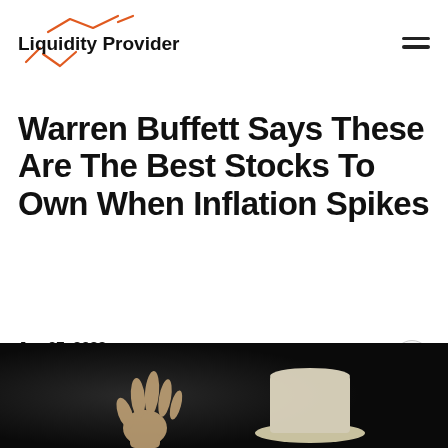Liquidity Provider
Warren Buffett Says These Are The Best Stocks To Own When Inflation Spikes
Jan 07, 2022
[Figure (photo): Photo of a person gesturing with one hand raised, wearing a hat, against a dark background]